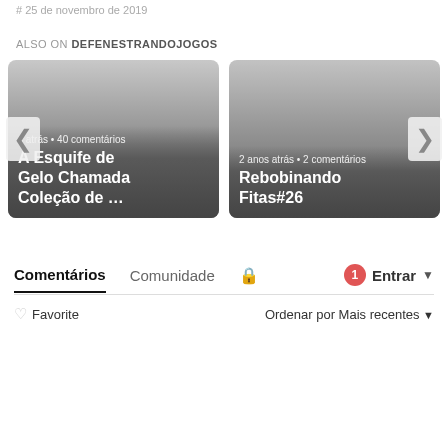25 de novembro de 2019
ALSO ON DEFENESTRANDOJOGOS
[Figure (screenshot): Two article card thumbnails in a horizontal carousel. Left card: metadata '... atrás • 40 comentários', title 'A Esquife de Gelo Chamada Coleção de …'. Right card: metadata '2 anos atrás • 2 comentários', title 'Rebobinando Fitas#26'. Left and right navigation arrows visible.]
Comentários  Comunidade  🔒  1  Entrar ▾
♡ Favorite    Ordenar por Mais recentes ▾